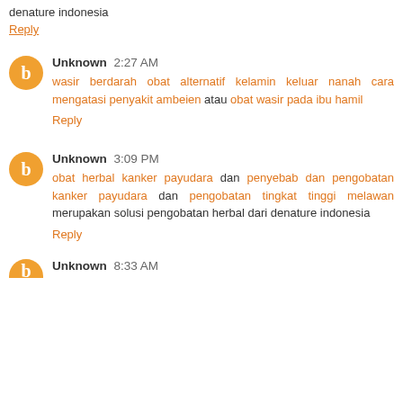denature indonesia
Reply
Unknown 2:27 AM
wasir berdarah obat alternatif kelamin keluar nanah cara mengatasi penyakit ambeien atau obat wasir pada ibu hamil
Reply
Unknown 3:09 PM
obat herbal kanker payudara dan penyebab dan pengobatan kanker payudara dan pengobatan tingkat tinggi melawan merupakan solusi pengobatan herbal dari denature indonesia
Reply
Unknown 8:33 AM